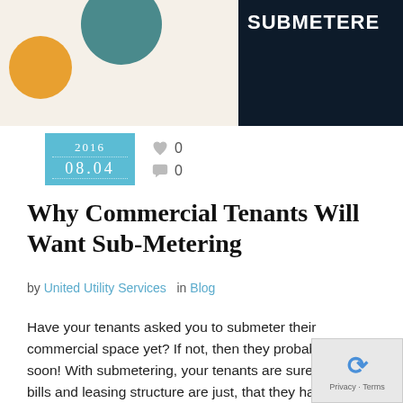[Figure (illustration): Top banner image split into two panels: left panel has a cream/beige background with a teal circle at top and yellow/orange circle at left; right panel has a dark navy background with bold white text 'SUBMETERED']
2016 08.04
0  0
Why Commercial Tenants Will Want Sub-Metering
by United Utility Services in Blog
Have your tenants asked you to submeter their commercial space yet? If not, then they probably will soon! With submetering, your tenants are sure that their bills and leasing structure are just, that they have a return on investment of their individual energy conservation projects, and that they can proudly identify as sustainability leaders. Here...